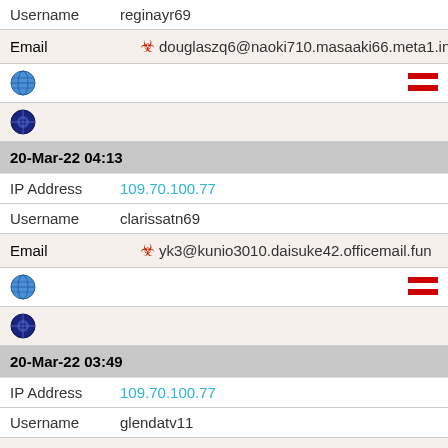Username  reginayr69
Email  douglaszq6@naoki710.masaaki66.meta1.in.net
[globe icon] [flag icon]
[shield icon]
20-Mar-22 04:13
IP Address  109.70.100.77
Username  clarissatn69
Email  yk3@kunio3010.daisuke42.officemail.fun
[globe icon] [flag icon]
[shield icon]
20-Mar-22 03:49
IP Address  109.70.100.77
Username  glendatv11
Email  patsyoh2@eiji40.mokomichi.xyz
[globe icon] [flag icon]
[shield icon] [shield icon]
20-Mar-22 02:47